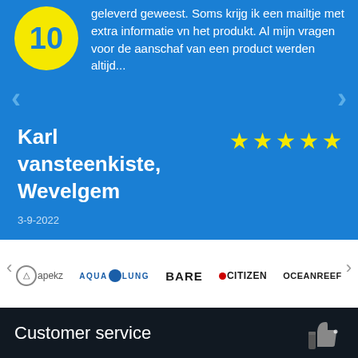geleverd geweest. Soms krijg ik een mailtje met extra informatie vn het produkt. Al mijn vragen voor de aanschaf van een product werden altijd...
Karl vansteenkiste, Wevelgem
3-9-2022
[Figure (other): Five yellow star rating icons]
[Figure (other): Brand logos carousel: Apeks, Aqua Lung, Bare, Citizen, Ocean Reef]
Customer service